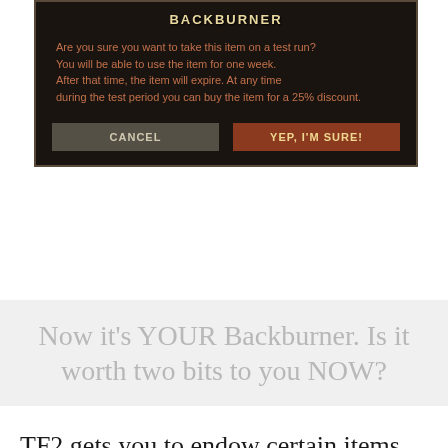[Figure (screenshot): A Team Fortress 2 in-game dialog box with dark brown/black background. Title reads 'BACKBURNER' in gold letters. Body text in reddish-orange reads: 'Are you sure you want to take this item on a test run? You will be able to use the item for one week. After that time, the item will expire. At any time during the test period you can buy the item for a 25% discount.' Two buttons: 'CANCEL' (grey) and 'YEP, I'M SURE!' (red-brown).]
Now it's YOUR Backburner. Is it worth two bits to you NOW?
TF2 gets you to endow certain items from its store by letting you try them out, in game, for free. After seven days, the item goes away, but you're given a chance to buy it. According to the endowment effect, people might value their new Backburner